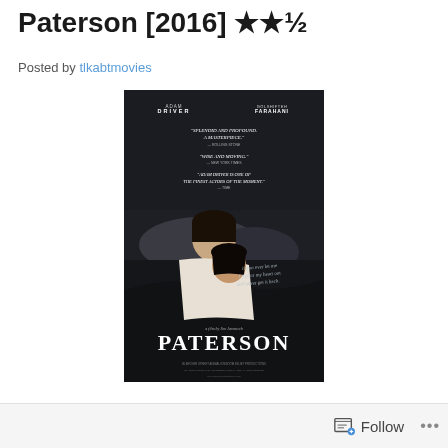Paterson [2016] ★★½
Posted by tlkabtmovies
[Figure (photo): Movie poster for Paterson (2016) directed by Jim Jarmusch, showing a couple lying in bed — a man and woman in a dark, moody setting. The poster includes critic quotes: 'Splendid and profound. A masterpiece.', 'Wise and moving.', 'Adam Driver is one of the finest actors of the moment.' The title PATERSON appears in large handwritten-style font at the bottom of the poster.]
Follow ...